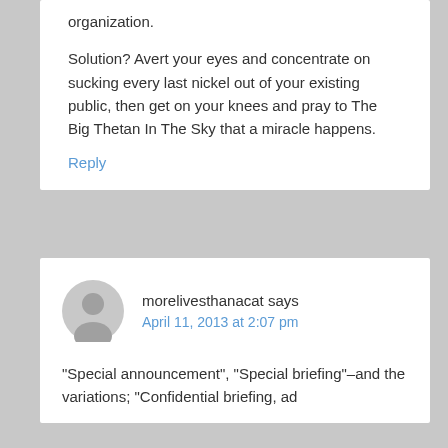organization.
Solution? Avert your eyes and concentrate on sucking every last nickel out of your existing public, then get on your knees and pray to The Big Thetan In The Sky that a miracle happens.
Reply
morelivesthanacat says
April 11, 2013 at 2:07 pm
“Special announcement”, “Special briefing”–and the variations; “Confidential briefing, ad